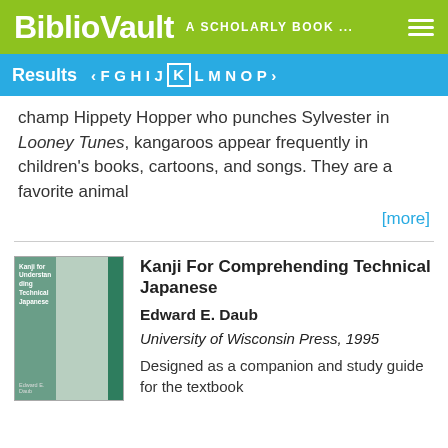BiblioVault  A SCHOLARLY BOOK ...
Results  < F G H I J K L M N O P >
champ Hippety Hopper who punches Sylvester in Looney Tunes, kangaroos appear frequently in children's books, cartoons, and songs. They are a favorite animal
[more]
[Figure (illustration): Book cover of Kanji For Comprehending Technical Japanese with green and teal spine design]
Kanji For Comprehending Technical Japanese
Edward E. Daub
University of Wisconsin Press, 1995
Designed as a companion and study guide for the textbook